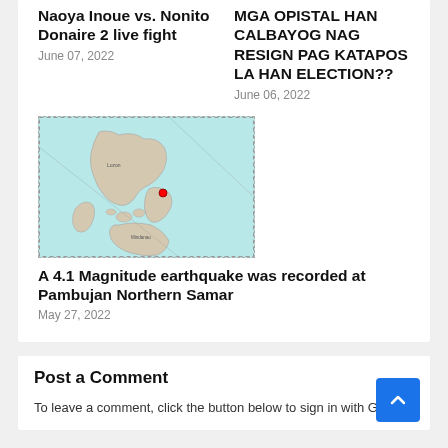Naoya Inoue vs. Nonito Donaire 2 live fight
June 07, 2022
MGA OPISTAL HAN CALBAYOG NAG RESIGN PAG KATAPOS LA HAN ELECTION??
June 06, 2022
[Figure (map): Map of the Philippines showing seismic activity location, with a red dot marking Pambujan, Northern Samar area. Teal/cyan background with landmass outlines.]
A 4.1 Magnitude earthquake was recorded at Pambujan Northern Samar
May 27, 2022
Post a Comment
To leave a comment, click the button below to sign in with Google.